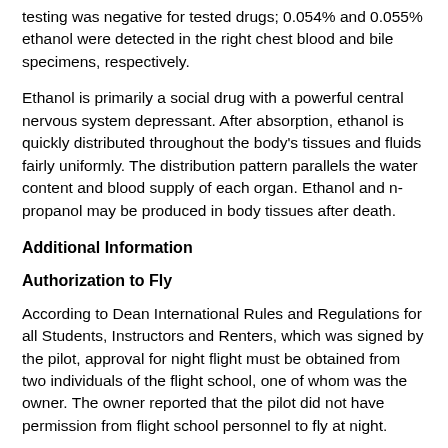testing was negative for tested drugs; 0.054% and 0.055% ethanol were detected in the right chest blood and bile specimens, respectively.
Ethanol is primarily a social drug with a powerful central nervous system depressant. After absorption, ethanol is quickly distributed throughout the body's tissues and fluids fairly uniformly. The distribution pattern parallels the water content and blood supply of each organ. Ethanol and n-propanol may be produced in body tissues after death.
Additional Information
Authorization to Fly
According to Dean International Rules and Regulations for all Students, Instructors and Renters, which was signed by the pilot, approval for night flight must be obtained from two individuals of the flight school, one of whom was the owner. The owner reported that the pilot did not have permission from flight school personnel to fly at night.
Spatial Disorientation